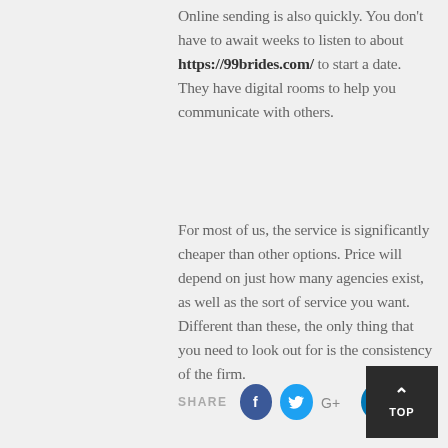Online sending is also quickly. You don't have to await weeks to listen to about https://99brides.com/ to start a date. They have digital rooms to help you communicate with others.
For most of us, the service is significantly cheaper than other options. Price will depend on just how many agencies exist, as well as the sort of service you want. Different than these, the only thing that you need to look out for is the consistency of the firm.
SHARE [Facebook] [Twitter] [Google+] [LinkedIn] [Pinterest] | TOP